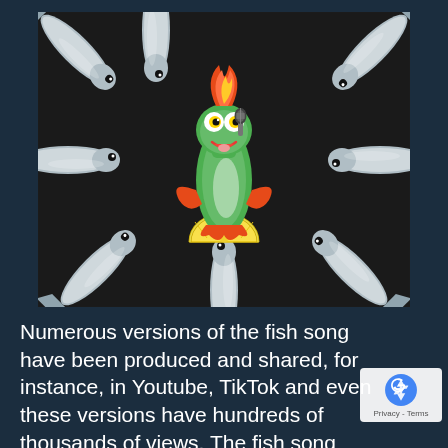[Figure (photo): A dark chalkboard background with real sardines/anchovies arranged radially around a central cartoon fish character (green, smiling, standing on a lemon slice, with orange flame/spiky hair and holding a microphone). The real fish point toward the cartoon fish from eight directions.]
Numerous versions of the fish song have been produced and shared, for instance, in Youtube, TikTok and even these versions have hundreds of thousands of views. The fish song also succeeded in reaching the target group through